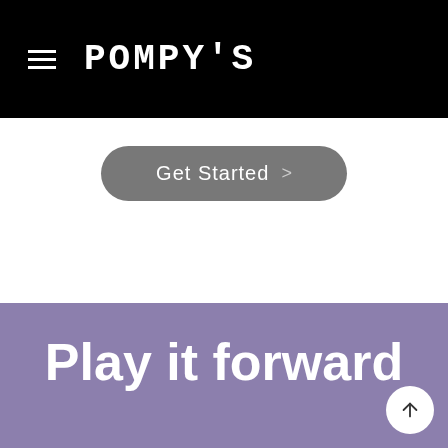POMPY'S
[Figure (screenshot): Get Started button with right arrow, rounded rectangle, grey background]
Play it forward
We've worked for over a year to offer you the best possible web design solution. Now, all you need to do is press 'Play'.